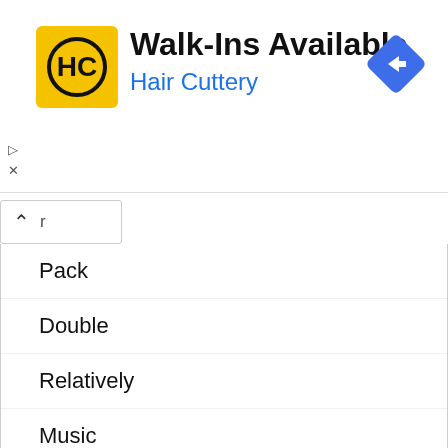[Figure (logo): Hair Cuttery advertisement banner with HC logo, 'Walk-Ins Available' text, and blue navigation icon]
Pack
Double
Relatively
Music
Solve
Communication
Reservation